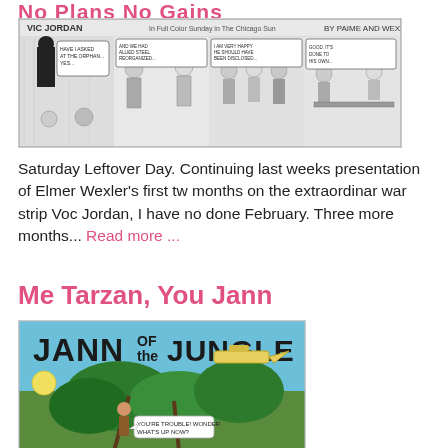No Plans No Gains
[Figure (illustration): Vic Jordan comic strip panels in black and white, labeled 'VIC JORDAN' with 'By Paime and Wexler', showing multiple sequential panels with characters talking]
Saturday Leftover Day. Continuing last weeks presentation of Elmer Wexler’s first tw months on the extraordinar war strip Voc Jordan, I have no done February. Three more months... Read more ...
Me Tarzan, You Jann
[Figure (illustration): Colorful comic book cover 'JANN of the JUNGLE' showing jungle scene with figure among trees and foliage, yellow aircraft visible]